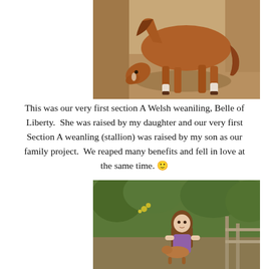[Figure (photo): A chestnut/sorrel Welsh pony (Section A weanling) grazing or bowing its head, photographed in a sandy paddock area near a wooden structure. The pony has white markings on its lower legs.]
This was our very first section A Welsh weaniling, Belle of Liberty.  She was raised by my daughter and our very first Section A weanling (stallion) was raised by my son as our family project.  We reaped many benefits and fell in love at the same time. 🙂
[Figure (photo): A young girl with long hair wearing a purple top, outdoors in a wooded/green area near what appears to be a fence or railing, possibly holding a small animal.]